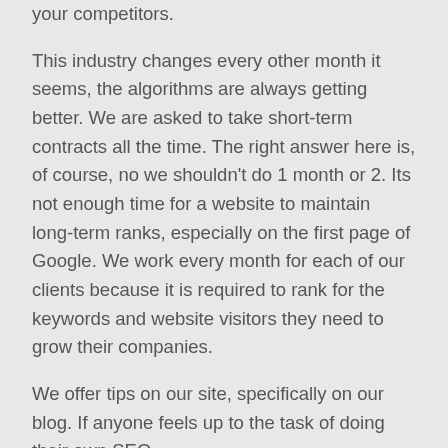your competitors.
This industry changes every other month it seems, the algorithms are always getting better. We are asked to take short-term contracts all the time. The right answer here is, of course, no we shouldn't do 1 month or 2. Its not enough time for a website to maintain long-term ranks, especially on the first page of Google. We work every month for each of our clients because it is required to rank for the keywords and website visitors they need to grow their companies.
We offer tips on our site, specifically on our blog. If anyone feels up to the task of doing their own SEO